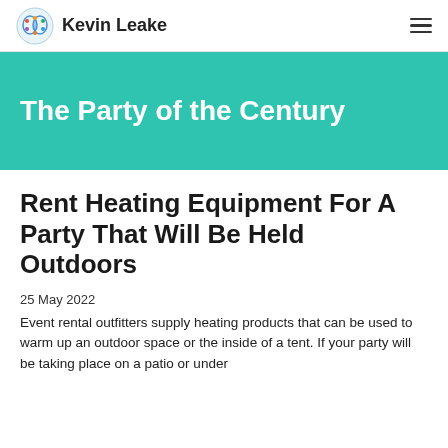Kevin Leake
The Party of the Century
Rent Heating Equipment For A Party That Will Be Held Outdoors
25 May 2022
Event rental outfitters supply heating products that can be used to warm up an outdoor space or the inside of a tent. If your party will be taking place on a patio or under